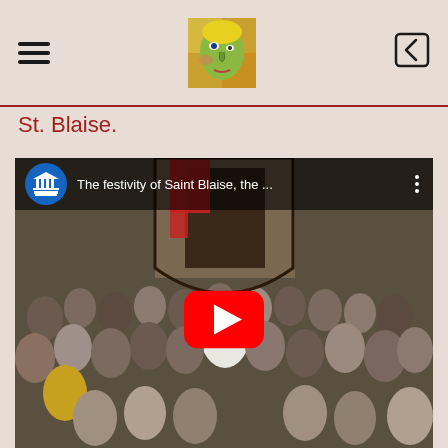St. Blaise.
[Figure (screenshot): YouTube video embed showing 'The festivity of Saint Blaise, the ...' with UNESCO logo, showing a crowd of people gathered outside a church with a bishop/clergy figure visible, and a red YouTube play button overlay in the center.]